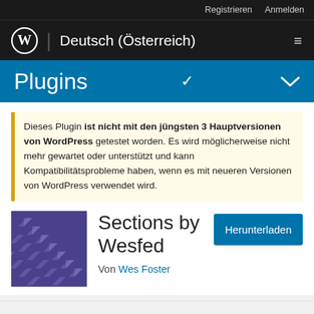Registrieren  Anmelden
Deutsch (Österreich)
Plugins
Dieses Plugin ist nicht mit den jüngsten 3 Hauptversionen von WordPress getestet worden. Es wird möglicherweise nicht mehr gewartet oder unterstützt und kann Kompatibilitätsprobleme haben, wenn es mit neueren Versionen von WordPress verwendet wird.
[Figure (illustration): Plugin icon for Sections by Wesfed: purple/indigo background with diagonal arrow/chevron pattern]
Sections by Wesfed
Von Wes Foster